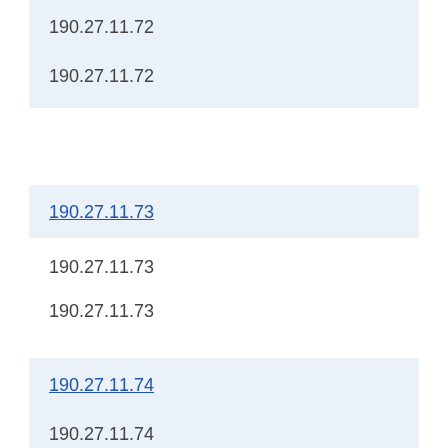190.27.11.72
190.27.11.72
190.27.11.73
190.27.11.73
190.27.11.73
190.27.11.74
190.27.11.74
190.27.11.74
190.27.11.75